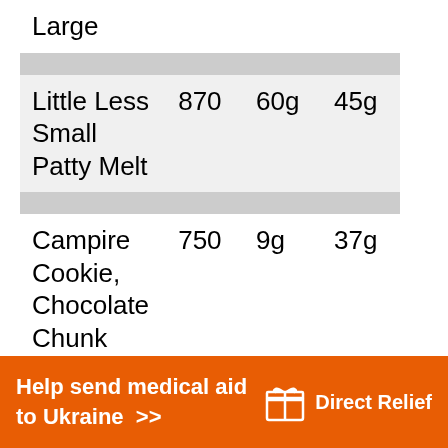| Item | Calories | Fat | Carbs |
| --- | --- | --- | --- |
| Large |  |  |  |
| Little Less Small Patty Melt | 870 | 60g | 45g |
| Campire Cookie, Chocolate Chunk | 750 | 9g | 37g |
| Scoop | 14 | 3g | 7g |
Help send medical aid to Ukraine >> Direct Relief